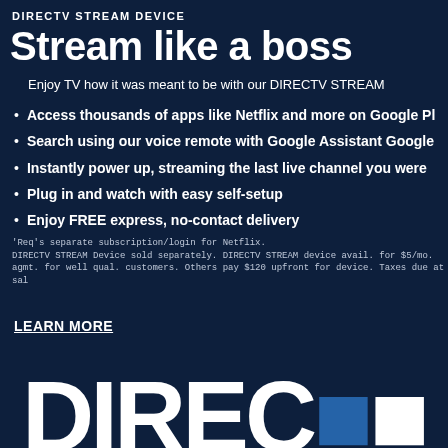DIRECTV STREAM DEVICE
Stream like a boss
Enjoy TV how it was meant to be with our DIRECTV STREAM
Access thousands of apps like Netflix and more on Google Pl
Search using our voice remote with Google Assistant Google
Instantly power up, streaming the last live channel you were
Plug in and watch with easy self-setup
Enjoy FREE express, no-contact delivery
'Req's separate subscription/login for Netflix. DIRECTV STREAM Device sold separately. DIRECTV STREAM device avail. for $5/mo. agmt. for well qual. customers. Others pay $120 upfront for device. Taxes due at sal
LEARN MORE
[Figure (logo): DIRECTV large white logo text at bottom of page, partially cropped]